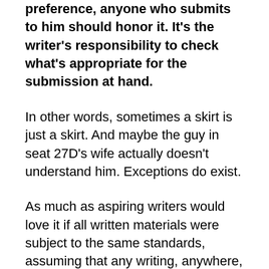preference, anyone who submits to him should honor it. It's the writer's responsibility to check what's appropriate for the submission at hand.
In other words, sometimes a skirt is just a skirt. And maybe the guy in seat 27D's wife actually doesn't understand him. Exceptions do exist.
As much as aspiring writers would love it if all written materials were subject to the same standards, assuming that any writing, anywhere, anytime should be formatted identically, or that any stack of papers called a manuscript